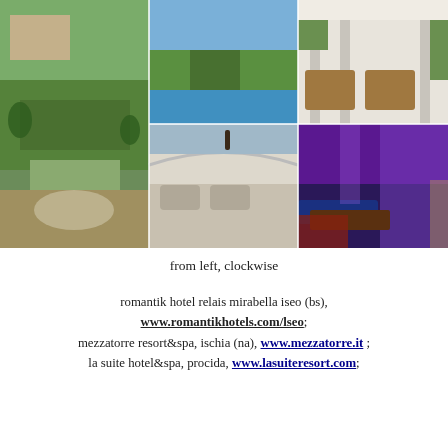[Figure (photo): Collage of six hotel photos arranged in a 3-column grid: left column shows aerial view of villa with green gardens; top-center shows coastal cliff view; bottom-center shows terrace/lounge with sea view; top-right shows white interior with wooden furniture; bottom-right shows purple/violet lit spa interior with drapes and blue lighting]
from left, clockwise
romantik hotel relais mirabella iseo (bs), www.romantikhotels.com/lseo; mezzatorre resort&spa, ischia (na), www.mezzatorre.it; la suite hotel&spa, procida, www.lasuiteresort.com;